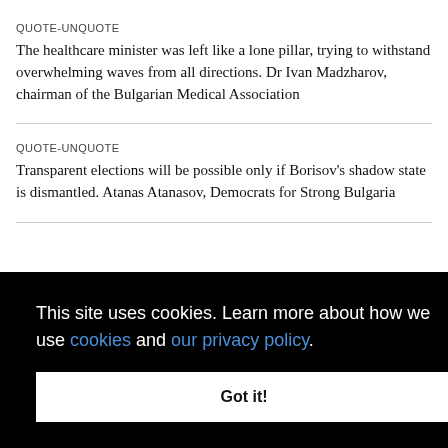QUOTE-UNQUOTE
The healthcare minister was left like a lone pillar, trying to withstand overwhelming waves from all directions. Dr Ivan Madzharov, chairman of the Bulgarian Medical Association
QUOTE-UNQUOTE
Transparent elections will be possible only if Borisov's shadow state is dismantled. Atanas Atanasov, Democrats for Strong Bulgaria
[Figure (screenshot): Cookie consent overlay on black background with text: 'This site uses cookies. Learn more about how we use cookies and our privacy policy.' and a 'Got it!' button]
No idea what the prime minister meant. Development of a Bulgarian